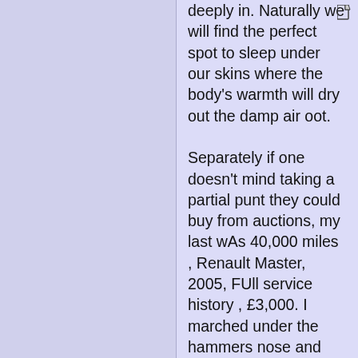deeply in. Naturally we will find the perfect spot to sleep under our skins where the body's warmth will dry out the damp air oot.

Separately if one doesn't mind taking a partial punt they could buy from auctions, my last wAs 40,000 miles , Renault Master, 2005, FUll service history , £3,000. I marched under the hammers nose and faced the bidders mind. They only bid once
Poster: A snowHead
I did a VW crafter LWB for a family of 5 with three teenagers. started it in winter 2018 and finished it for summer 2019. Im a teacher so had plenty of summer hols to work at it. Triple bunk and a queen size slide out couch bed. Diesel blown air heating and full insulation. We live in Ireland and have been driving to continent for years. We have done three MH ski